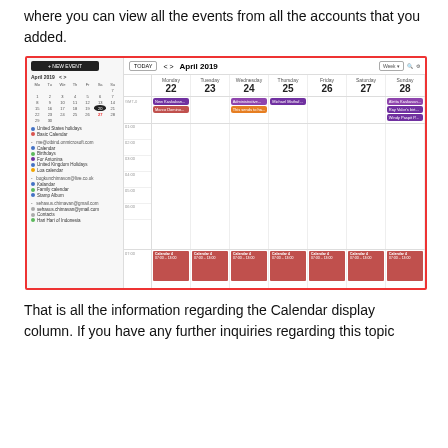Last but definitely not least - the Calendar display. This is where you can view all the events from all the accounts that you added.
[Figure (screenshot): Screenshot of Microsoft Outlook Calendar in Week view showing April 2019 (April 22-28). The left sidebar shows account calendars including United States holidays, Basic Calendar, me@otbind.onmicrosoft.com with Calendar, Birthdays, For Antonina, United Kingdom Holidays, Local Calendar, bogkunchimavon@live.co.uk with Calendar, Family calendar, Stamp Album, sehasus.chimavan@gmail.com with sehasus.chimavan@ymail.com, Contacts, and Hari Hari of Indonesia. The main area shows a week view with colored event blocks including: New Kaskaban, Marco Domino, Administrative..., This sends to ha..., Michael Mathaf..., Aletta Kaskavan..., Ray Valor's Birt..., Windy Paspit P... All days also show a red Calendar 4 block running 07:00-13:00.]
That is all the information regarding the Calendar display column. If you have any further inquiries regarding this topic